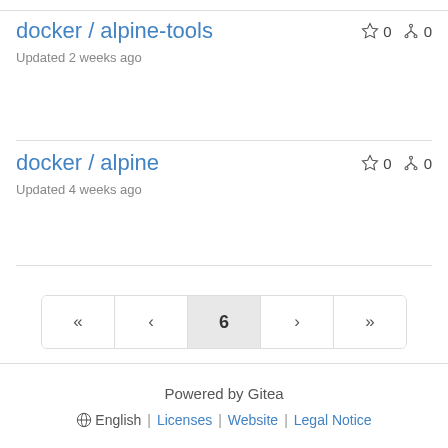docker / alpine-tools  ☆ 0  ⑂ 0  Updated 2 weeks ago
docker / alpine  ☆ 0  ⑂ 0  Updated 4 weeks ago
« ‹ 6 › »
Powered by Gitea  🌐 English | Licenses | Website | Legal Notice